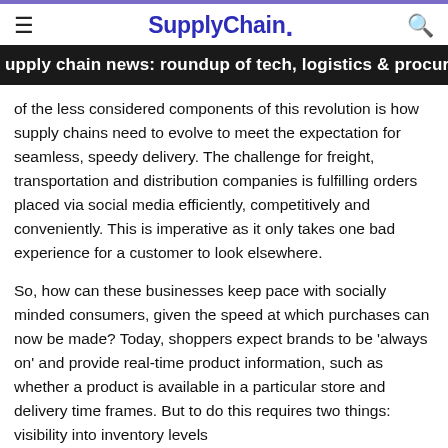SupplyChain.
upply chain news: roundup of tech, logistics & procurement
of the less considered components of this revolution is how supply chains need to evolve to meet the expectation for seamless, speedy delivery. The challenge for freight, transportation and distribution companies is fulfilling orders placed via social media efficiently, competitively and conveniently. This is imperative as it only takes one bad experience for a customer to look elsewhere.
So, how can these businesses keep pace with socially minded consumers, given the speed at which purchases can now be made? Today, shoppers expect brands to be 'always on' and provide real-time product information, such as whether a product is available in a particular store and delivery time frames. But to do this requires two things: visibility into inventory levels